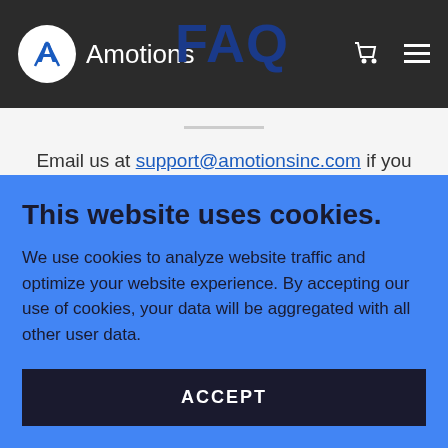Amotions FAQ
Email us at support@amotionsinc.com if you have further questions
How can Amotions help...
This website uses cookies.
We use cookies to analyze website traffic and optimize your website experience. By accepting our use of cookies, your data will be aggregated with all other user data.
ACCEPT